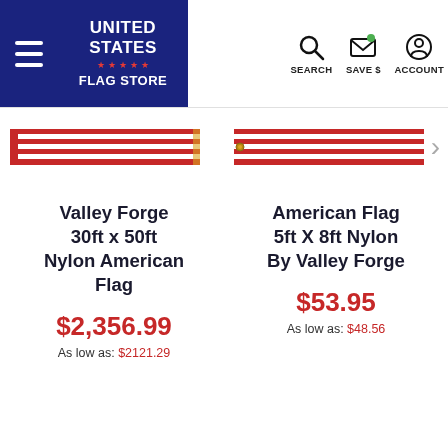[Figure (screenshot): United States Flag Store website header with hamburger menu, logo, and navigation icons for Search, Save $, and Account]
[Figure (photo): Left product image: Valley Forge 30ft x 50ft Nylon American Flag strip]
[Figure (photo): Right product image: American Flag 5ft X 8ft Nylon By Valley Forge strip]
Valley Forge 30ft x 50ft Nylon American Flag
$2,356.99
As low as: $2121.29
American Flag 5ft X 8ft Nylon By Valley Forge
$53.95
As low as: $48.56